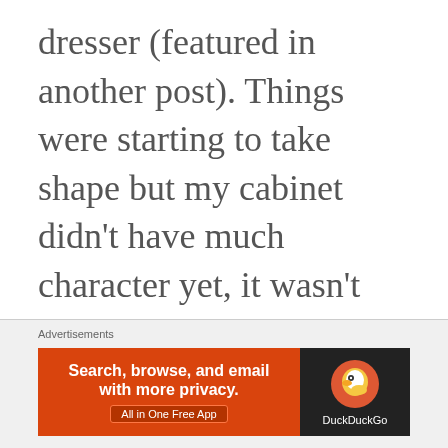dresser (featured in another post). Things were starting to take shape but my cabinet didn't have much character yet, it wasn't very playful looking.
[Figure (other): DuckDuckGo advertisement banner with orange background on left showing 'Search, browse, and email with more privacy. All in One Free App' and dark right panel with DuckDuckGo duck logo]